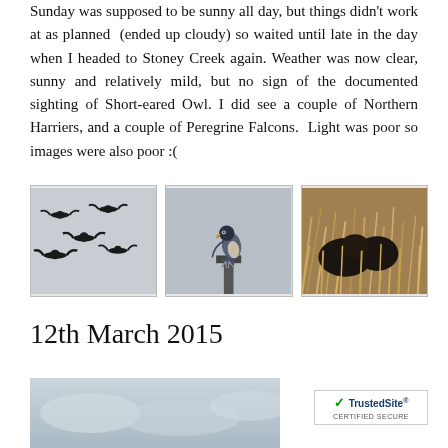Sunday was supposed to be sunny all day, but things didn't work at as planned (ended up cloudy) so waited until late in the day when I headed to Stoney Creek again. Weather was now clear, sunny and relatively mild, but no sign of the documented sighting of Short-eared Owl. I did see a couple of Northern Harriers, and a couple of Peregrine Falcons. Light was poor so images were also poor :(
[Figure (photo): Silhouettes of birds (geese/cranes) in flight against a pale grey sky]
[Figure (photo): A falcon (Peregrine Falcon) perched on a post or sign, viewed from the side, light grey background]
[Figure (photo): Dark animal (possibly a bear or large mammal) in dry golden-brown grassy vegetation]
12th March 2015
[Figure (photo): Partially visible photo at bottom of page, pale blue-grey blurred background, likely a bird in flight]